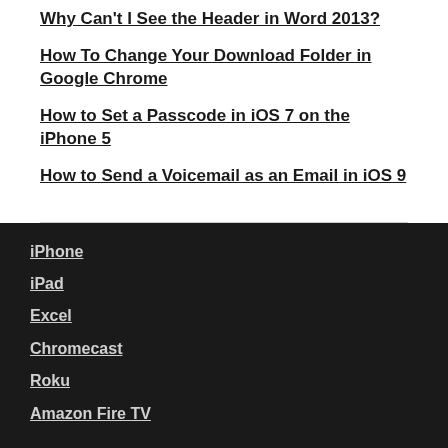Why Can't I See the Header in Word 2013?
How To Change Your Download Folder in Google Chrome
How to Set a Passcode in iOS 7 on the iPhone 5
How to Send a Voicemail as an Email in iOS 9
iPhone
iPad
Excel
Chromecast
Roku
Amazon Fire TV